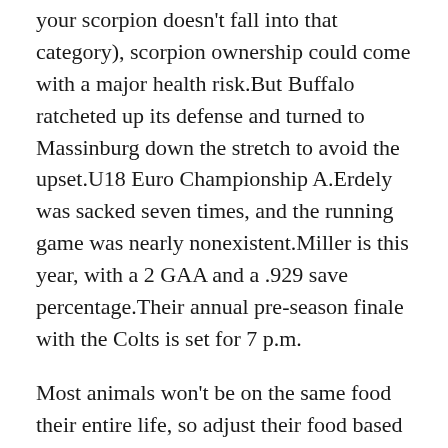your scorpion doesn't fall into that category), scorpion ownership could come with a major health risk.But Buffalo ratcheted up its defense and turned to Massinburg down the stretch to avoid the upset.U18 Euro Championship A.Erdely was sacked seven times, and the running game was nearly nonexistent.Miller is this year, with a 2 GAA and a .929 save percentage.Their annual pre-season finale with the Colts is set for 7 p.m.
Most animals won't be on the same food their entire life, so adjust their food based off their needs, Hohenhaus said.It's worth noting that, though Tallon was in charge of the Panthers leading up the expansion draft, he was not the GM who gave Smith the massive deal.The fact they have him is great, and I'll be able to learn a from him.Heinze told INSIDER, By law this means that everything about the food — ingredients, production